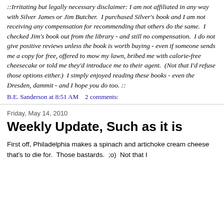::Irritating but legally necessary disclaimer: I am not affiliated in any way with Silver James or Jim Butcher.  I purchased Silver's book and I am not receiving any compensation for recommending that others do the same.  I checked Jim's book out from the library - and still no compensation.  I do not give positive reviews unless the book is worth buying - even if someone sends me a copy for free, offered to mow my lawn, bribed me with calorie-free cheesecake or told me they'd introduce me to their agent.  (Not that I'd refuse those options either.)  I simply enjoyed reading these books - even the Dresden, dammit - and I hope you do too. ::
B.E. Sanderson at 8:51 AM   2 comments:
Friday, May 14, 2010
Weekly Update, Such as it is
First off, Philadelphia makes a spinach and artichoke cream cheese that's to die for.  Those bastards.  ;o)  Not that I